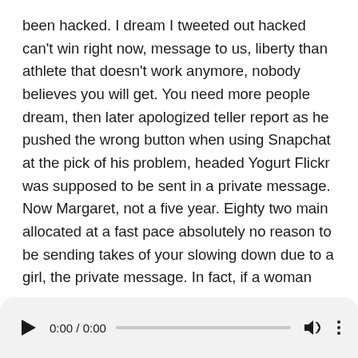been hacked. I dream I tweeted out hacked can't win right now, message to us, liberty than athlete that doesn't work anymore, nobody believes you will get. You need more people dream, then later apologized teller report as he pushed the wrong button when using Snapchat at the pick of his problem, headed Yogurt Flickr was supposed to be sent in a private message. Now Margaret, not a five year. Eighty two main allocated at a fast pace absolutely no reason to be sending takes of your slowing down due to a girl, the private message. In fact, if a woman wants to see a male shewn had doggone put our ass off
or of glass and fly or out to see it in person. Ok comes a point in time: when you gotta act like you ve, been here